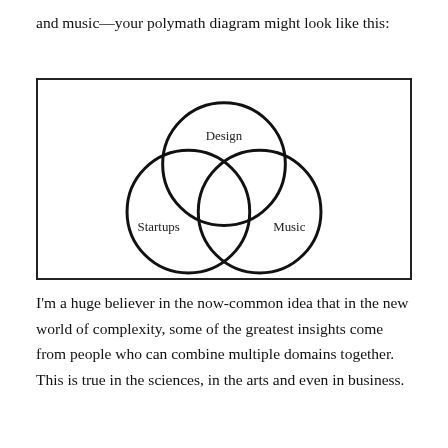and music—your polymath diagram might look like this:
[Figure (infographic): A Venn diagram with three overlapping circles labeled 'Design' (top center), 'Startups' (bottom left), and 'Music' (bottom right), contained within a rectangular border.]
I'm a huge believer in the now-common idea that in the new world of complexity, some of the greatest insights come from people who can combine multiple domains together. This is true in the sciences, in the arts and even in business.